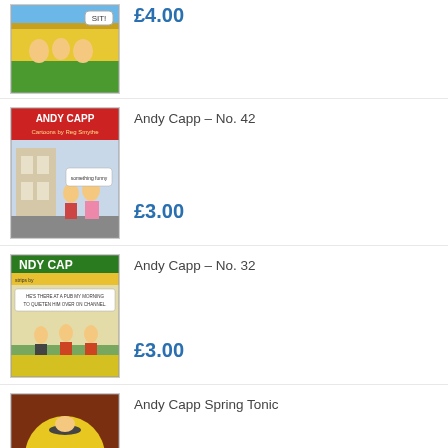[Figure (photo): Comic book cover thumbnail - cartoon characters in yellow/green scene with 'SIT!' speech bubble]
£4.00
[Figure (photo): Andy Capp No. 42 comic book cover thumbnail - red Andy Capp logo with cartoon characters]
Andy Capp – No. 42
£3.00
[Figure (photo): Andy Capp No. 32 comic book cover thumbnail - green/yellow scene with cartoon characters]
Andy Capp – No. 32
£3.00
[Figure (photo): Andy Capp Spring Tonic book cover - brown/orange with yellow circle logo and Andy Capp SPRING TONIC text]
Andy Capp Spring Tonic
£5.00